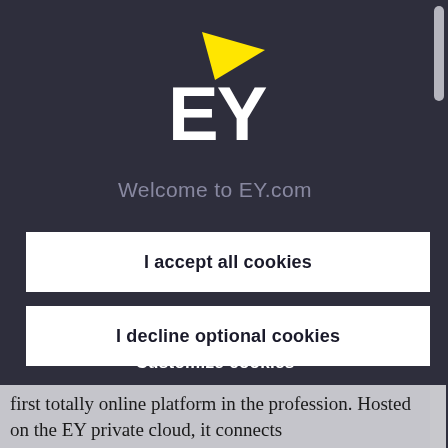[Figure (logo): EY logo with yellow triangle above letters EY in white on dark background]
Welcome to EY.com
I accept all cookies
I decline optional cookies
Customize cookies
first totally online platform in the profession. Hosted on the EY private cloud, it connects